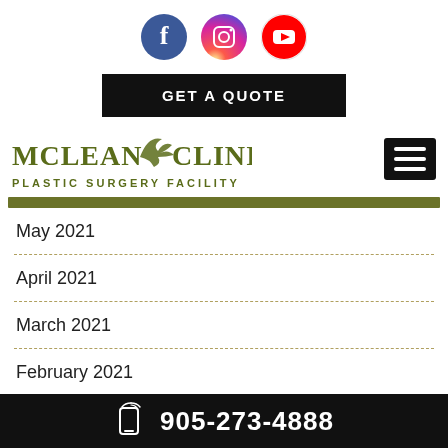[Figure (logo): Social media icons: Facebook (blue circle with f), Instagram (gradient circle), YouTube (red circle with play button)]
GET A QUOTE
[Figure (logo): McLean Clinic Plastic Surgery Facility logo with decorative bird/leaf graphic]
May 2021
April 2021
March 2021
February 2021
January 2021
December 2020
905-273-4888